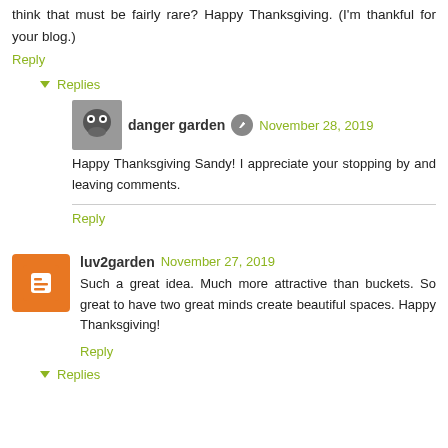think that must be fairly rare? Happy Thanksgiving. (I'm thankful for your blog.)
Reply
Replies
danger garden  November 28, 2019
Happy Thanksgiving Sandy! I appreciate your stopping by and leaving comments.
Reply
luv2garden  November 27, 2019
Such a great idea. Much more attractive than buckets. So great to have two great minds create beautiful spaces. Happy Thanksgiving!
Reply
Replies